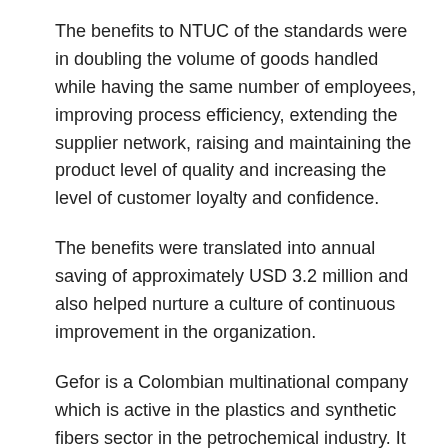The benefits to NTUC of the standards were in doubling the volume of goods handled while having the same number of employees, improving process efficiency, extending the supplier network, raising and maintaining the product level of quality and increasing the level of customer loyalty and confidence.
The benefits were translated into annual saving of approximately USD 3.2 million and also helped nurture a culture of continuous improvement in the organization.
Gefor is a Colombian multinational company which is active in the plastics and synthetic fibers sector in the petrochemical industry. It uses over 200 standards, both national and international ones. The benefits to it were in continual improvement in operations and production, sales and marketing by